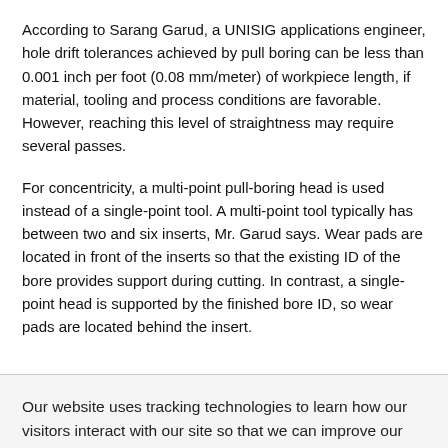According to Sarang Garud, a UNISIG applications engineer, hole drift tolerances achieved by pull boring can be less than 0.001 inch per foot (0.08 mm/meter) of workpiece length, if material, tooling and process conditions are favorable. However, reaching this level of straightness may require several passes.
For concentricity, a multi-point pull-boring head is used instead of a single-point tool. A multi-point tool typically has between two and six inserts, Mr. Garud says. Wear pads are located in front of the inserts so that the existing ID of the bore provides support during cutting. In contrast, a single-point head is supported by the finished bore ID, so wear pads are located behind the insert.
Our website uses tracking technologies to learn how our visitors interact with our site so that we can improve our services and provide you with valuable content. Disable Tracking.